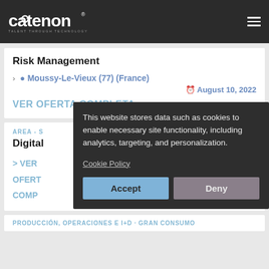catenon — TALENT THROUGH TECHNOLOGY
Risk Management
📍 Moussy-Le-Vieux (77) (France)
🕐 August 10, 2022
VER OFERTA COMPLETA
AREA - S...
Digital...
> VER OFERTA COMP...
PRODUCCIÓN, OPERACIONES E I+D · GRAN CONSUMO
This website stores data such as cookies to enable necessary site functionality, including analytics, targeting, and personalization.
Cookie Policy
Accept
Deny